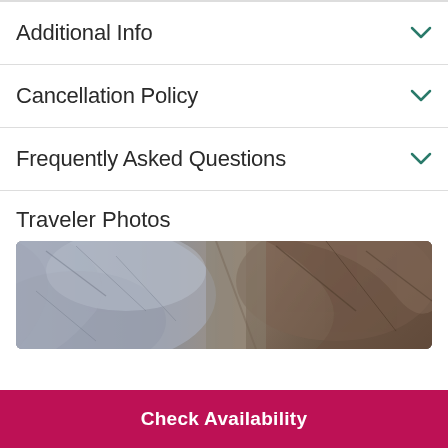Additional Info
Cancellation Policy
Frequently Asked Questions
Traveler Photos
[Figure (photo): Cave or rock formation aerial/close-up photo showing textured grey and brown rock surfaces]
Check Availability